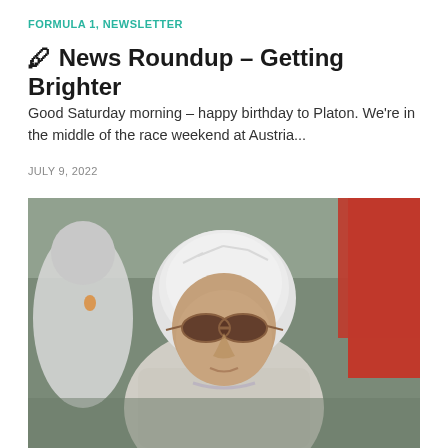FORMULA 1, NEWSLETTER
🖊 News Roundup – Getting Brighter
Good Saturday morning – happy birthday to Platon. We're in the middle of the race weekend at Austria...
JULY 9, 2022
[Figure (photo): An elderly man with white hair and tinted oval sunglasses, wearing a light grey sweater/cardigan, standing outdoors at what appears to be a motorsport event. A blurred figure in white is visible to the left, and a red flag/banner is visible to the upper right. The background shows blurred structures suggesting a race paddock.]